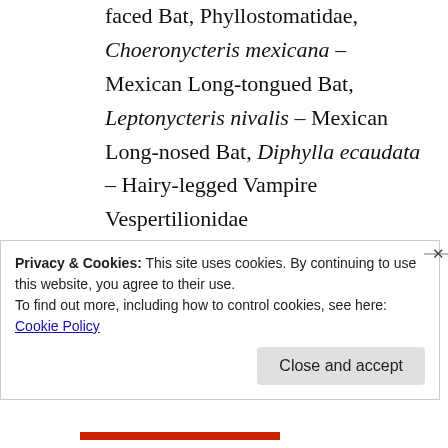faced Bat, Phyllostomatidae, Choeronycteris mexicana – Mexican Long-tongued Bat, Leptonycteris nivalis – Mexican Long-nosed Bat, Diphylla ecaudata – Hairy-legged Vampire
Vespertilionidae
Myotis austroriparius – Southeastern Myotis, Myotis californicus – California Myotis
Privacy & Cookies: This site uses cookies. By continuing to use this website, you agree to their use.
To find out more, including how to control cookies, see here: Cookie Policy